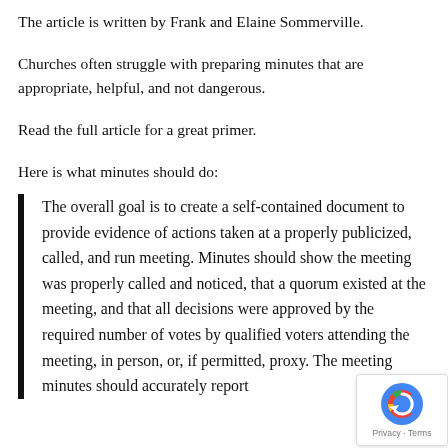The article is written by Frank and Elaine Sommerville.
Churches often struggle with preparing minutes that are appropriate, helpful, and not dangerous.
Read the full article for a great primer.
Here is what minutes should do:
The overall goal is to create a self-contained document to provide evidence of actions taken at a properly publicized, called, and run meeting. Minutes should show the meeting was properly called and noticed, that a quorum existed at the meeting, and that all decisions were approved by the required number of votes by qualified voters attending the meeting, in person, or, if permitted, proxy. The meeting minutes should accurately report